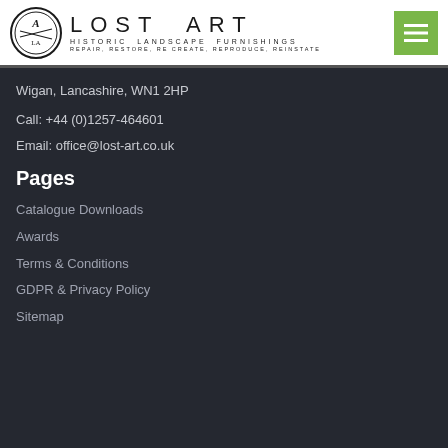[Figure (logo): Lost Art Historic Landscape Furnishings logo with circular emblem and stylized text]
Wigan, Lancashire, WN1 2HP
Call: +44 (0)1257-464601
Email: office@lost-art.co.uk
Pages
Catalogue Downloads
Awards
Terms & Conditions
GDPR & Privacy Policy
Sitemap